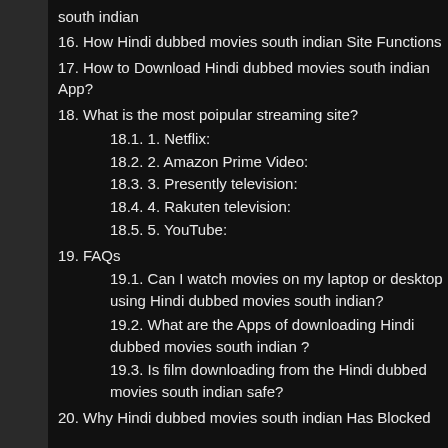south indian
16. How Hindi dubbed movies south indian Site Functions
17. How to Download Hindi dubbed movies south indian App?
18. What is the most poipular streaming site?
18.1. 1. Netflix:
18.2. 2. Amazon Prime Video:
18.3. 3. Presently television:
18.4. 4. Rakuten television:
18.5. 5. YouTube:
19. FAQs
19.1. Can I watch movies on my laptop or desktop using Hindi dubbed movies south indian?
19.2. What are the Apps of downloading Hindi dubbed movies south indian ?
19.3. Is film downloading from the Hindi dubbed movies south indian safe?
20. Why Hindi dubbed movies south indian Has Blocked